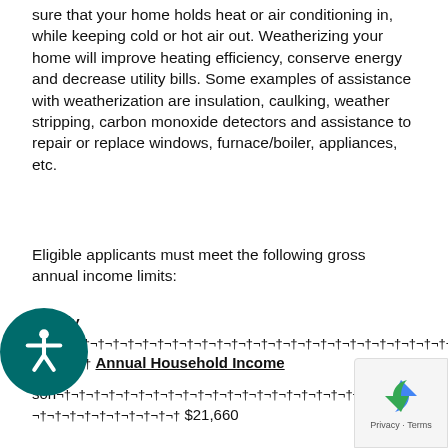sure that your home holds heat or air conditioning in, while keeping cold or hot air out. Weatherizing your home will improve heating efficiency, conserve energy and decrease utility bills. Some examples of assistance with weatherization are insulation, caulking, weather stripping, carbon monoxide detectors and assistance to repair or replace windows, furnace/boiler, appliances, etc.
Eligible applicants must meet the following gross annual income limits:
| Family size | Annual Household Income |
| --- | --- |
| 1 person | $21,660 |